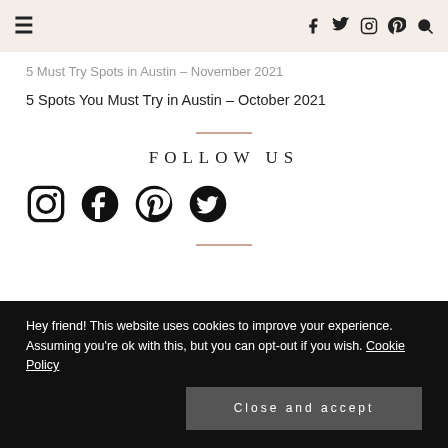≡  [nav icons: facebook, twitter, instagram, pinterest, search]
5 Must Try Spots in Austin – November 2021
5 Spots You Must Try in Austin – October 2021
FOLLOW US
[Figure (other): Social media icons row: Instagram, Facebook, Pinterest, Twitter]
Hey friend! This website uses cookies to improve your experience. Assuming you're ok with this, but you can opt-out if you wish. Cookie Policy
Close and accept